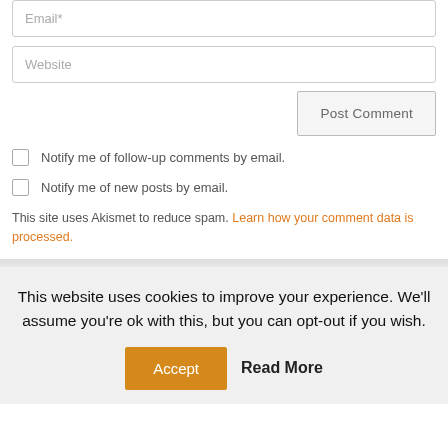Email*
Website
Post Comment
Notify me of follow-up comments by email.
Notify me of new posts by email.
This site uses Akismet to reduce spam. Learn how your comment data is processed.
This website uses cookies to improve your experience. We'll assume you're ok with this, but you can opt-out if you wish.
Accept
Read More